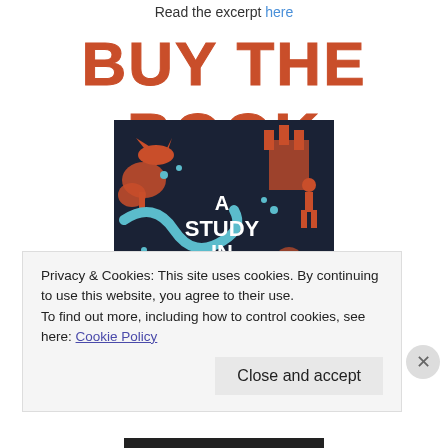Read the excerpt here
BUY THE BOOK
[Figure (illustration): Book cover for 'A Study in Charlotte' — dark navy background with illustrated orange and teal/cyan decorative motifs including a fox, snake, trees, and a castle. Title text reads 'A Study in Charlotte' in white lettering.]
Privacy & Cookies: This site uses cookies. By continuing to use this website, you agree to their use.
To find out more, including how to control cookies, see here: Cookie Policy